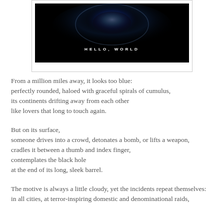[Figure (photo): Dark space image showing a glowing blue orb (Earth) against a black background with the text HELLO, WORLD in white spaced letters centered near the bottom of the image. The image is in a white-bordered box.]
From a million miles away, it looks too blue:
perfectly rounded, haloed with graceful spirals of cumulus,
its continents drifting away from each other
like lovers that long to touch again.
But on its surface,
someone drives into a crowd, detonates a bomb, or lifts a weapon,
cradles it between a thumb and index finger,
contemplates the black hole
at the end of its long, sleek barrel.
The motive is always a little cloudy, yet the incidents repeat themselves:
in all cities, at terror-inspiring domestic and denominational raids,